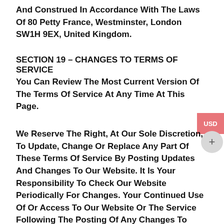And Construed In Accordance With The Laws Of 80 Petty France, Westminster, London SW1H 9EX, United Kingdom.
SECTION 19 – CHANGES TO TERMS OF SERVICE
You Can Review The Most Current Version Of The Terms Of Service At Any Time At This Page.
We Reserve The Right, At Our Sole Discretion, To Update, Change Or Replace Any Part Of These Terms Of Service By Posting Updates And Changes To Our Website. It Is Your Responsibility To Check Our Website Periodically For Changes. Your Continued Use Of Or Access To Our Website Or The Service Following The Posting Of Any Changes To These Terms Of Service Constitutes Acceptance Of Those Changes.